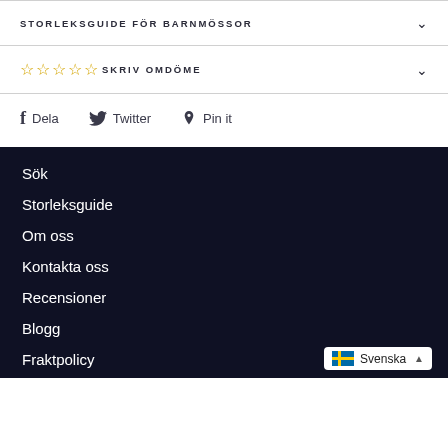STORLEKSGUIDE FÖR BARNMÖSSOR
☆☆☆☆☆ SKRIV OMDÖME
f Dela   Twitter   Pin it
Sök
Storleksguide
Om oss
Kontakta oss
Recensioner
Blogg
Fraktpolicy
Svenska ▲